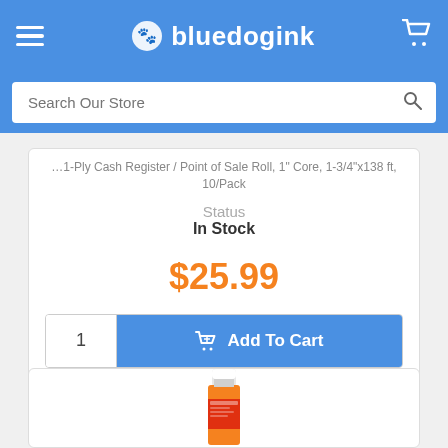bluedogink
Search Our Store
1-Ply Cash Register / Point of Sale Roll, 1" Core, 1-3/4"x138 ft, 10/Pack
Status
In Stock
$25.99
1  Add To Cart
[Figure (photo): Partial view of a product (white and orange/red cylindrical roll or tube) shown in second product card at bottom of page]